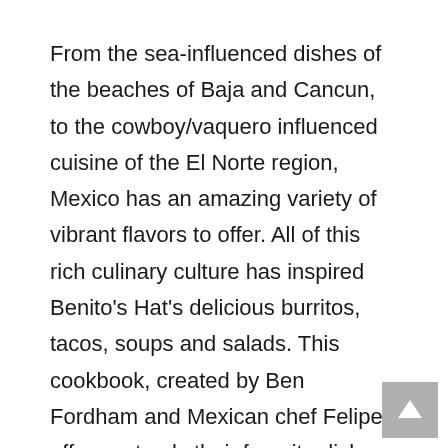From the sea-influenced dishes of the beaches of Baja and Cancun, to the cowboy/vaquero influenced cuisine of the El Norte region, Mexico has an amazing variety of vibrant flavors to offer. All of this rich culinary culture has inspired Benito's Hat's delicious burritos, tacos, soups and salads. This cookbook, created by Ben Fordham and Mexican chef Felipe, offers not only their favorite dishes, but many more delights from Felipe's own collection of family recipes. These dishes cater for vegetarians and meat eaters alike, as well as both the newcomers to Mexican food and the seasoned veterans. You'll find Appetizers; Soups & Salads; Main Dishes; Side Dishes; Salsas; Desserts; and Drinks. More than recipes are included...